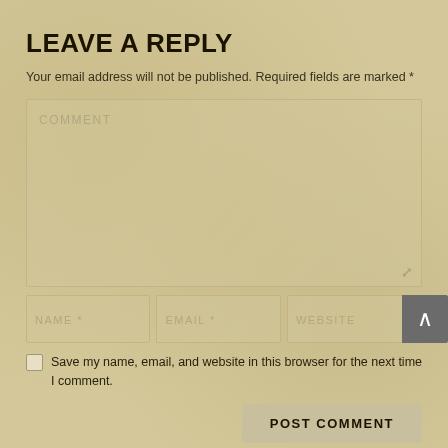LEAVE A REPLY
Your email address will not be published. Required fields are marked *
[Figure (screenshot): Comment text area input field with placeholder text 'COMMENT' and a resize handle in the bottom-right corner]
[Figure (screenshot): Three input fields in a row: NAME *, EMAIL *, WEBSITE with a dark gray scroll-to-top button with up arrow on the right]
Save my name, email, and website in this browser for the next time I comment.
POST COMMENT